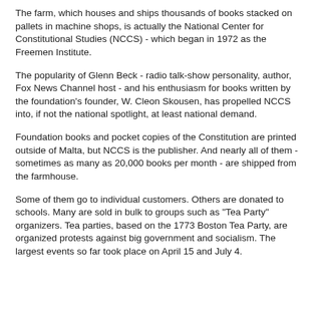The farm, which houses and ships thousands of books stacked on pallets in machine shops, is actually the National Center for Constitutional Studies (NCCS) - which began in 1972 as the Freemen Institute.
The popularity of Glenn Beck - radio talk-show personality, author, Fox News Channel host - and his enthusiasm for books written by the foundation's founder, W. Cleon Skousen, has propelled NCCS into, if not the national spotlight, at least national demand.
Foundation books and pocket copies of the Constitution are printed outside of Malta, but NCCS is the publisher. And nearly all of them - sometimes as many as 20,000 books per month - are shipped from the farmhouse.
Some of them go to individual customers. Others are donated to schools. Many are sold in bulk to groups such as "Tea Party" organizers. Tea parties, based on the 1773 Boston Tea Party, are organized protests against big government and socialism. The largest events so far took place on April 15 and July 4.